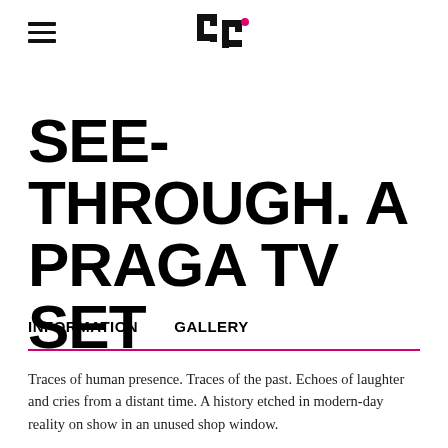[hamburger menu] [HP logo]
SEE-THROUGH. A PRAGA TV SET
INFORMATION   GALLERY
Traces of human presence. Traces of the past. Echoes of laughter and cries from a distant time. A history etched in modern-day reality on show in an unused shop window.